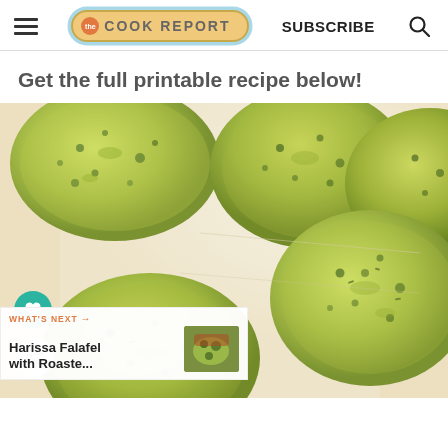THE COOK REPORT | SUBSCRIBE
Get the full printable recipe below!
[Figure (photo): Close-up photo of green falafel patties on parchment paper, showing herb-flecked texture with spinach or herb filling]
WHAT'S NEXT → Harissa Falafel with Roaste...